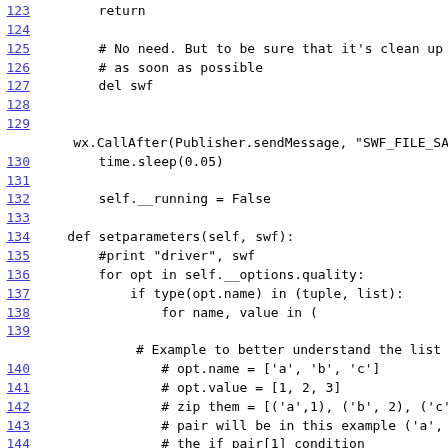Source code listing lines 123-145 with Python code including return, del swf, wx.CallAfter, time.sleep, self.__running, def setparameters, for opt loops, and comments about list comprehension example.